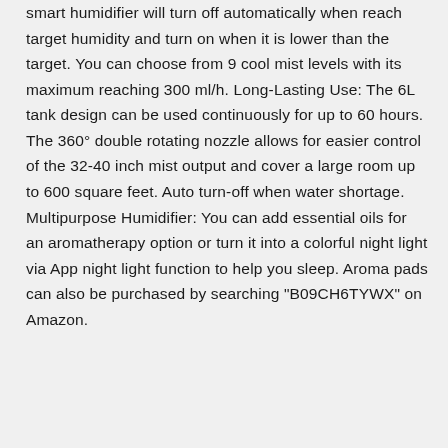smart humidifier will turn off automatically when reach target humidity and turn on when it is lower than the target. You can choose from 9 cool mist levels with its maximum reaching 300 ml/h. Long-Lasting Use: The 6L tank design can be used continuously for up to 60 hours. The 360° double rotating nozzle allows for easier control of the 32-40 inch mist output and cover a large room up to 600 square feet. Auto turn-off when water shortage. Multipurpose Humidifier: You can add essential oils for an aromatherapy option or turn it into a colorful night light via App night light function to help you sleep. Aroma pads can also be purchased by searching "B09CH6TYWX" on Amazon.